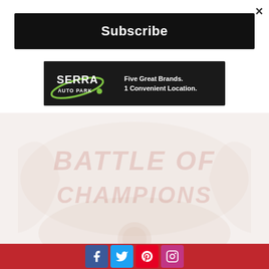×
Subscribe
[Figure (logo): Serra Auto Park advertisement banner with logo and text: Five Great Brands. 1 Convenient Location.]
[Figure (photo): Faded/watermarked article image with reddish watermark text overlay, partially visible illustration in background]
[Figure (infographic): Social media footer bar with Facebook, Twitter, Pinterest, and Instagram icons on a red background]